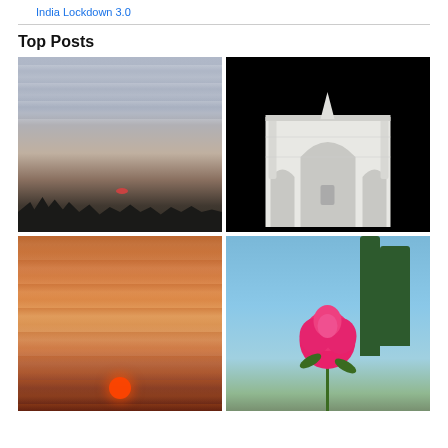India Lockdown 3.0
Top Posts
[Figure (photo): Twilight/dusk landscape with silhouette of trees in foreground and hazy sky with clouds, red sun low on horizon]
[Figure (photo): Close-up of Taj Mahal facade through a dark archway, showing intricate white marble architecture with arched niches and detailed inlay work]
[Figure (photo): Vivid sunset with orange and pink horizontal cloud streaks and a bright red setting sun near the horizon]
[Figure (photo): Pink rose in foreground with tall trees and blue sky in background]